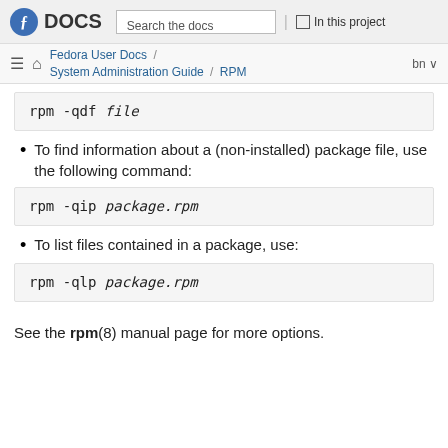DOCS | Search the docs | In this project
Fedora User Docs / System Administration Guide / RPM | bn
rpm -qdf file
To find information about a (non-installed) package file, use the following command:
rpm -qip package.rpm
To list files contained in a package, use:
rpm -qlp package.rpm
See the rpm(8) manual page for more options.